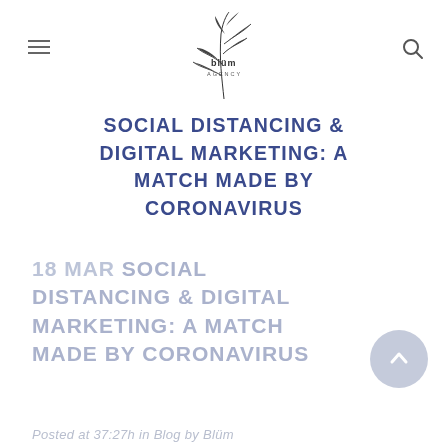blüm AGENCY — navigation header with logo
SOCIAL DISTANCING & DIGITAL MARKETING: A MATCH MADE BY CORONAVIRUS
18 MAR SOCIAL DISTANCING & DIGITAL MARKETING: A MATCH MADE BY CORONAVIRUS
Posted at 37:27h in Blog by Blüm